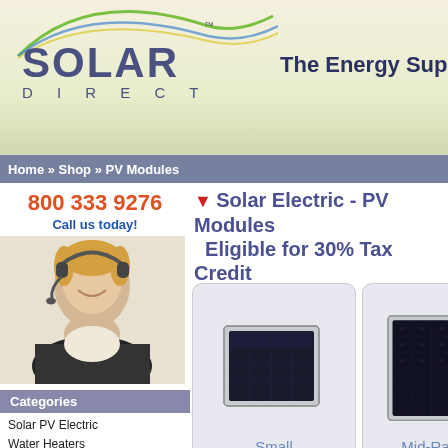[Figure (logo): Solar Direct logo with arc graphic and TM mark]
The Energy Super
Home » Shop » PV Modules
800 333 9276
Call us today!
[Figure (photo): Woman with headset smiling, customer service representative]
Categories
Solar PV Electric
Water Heaters
Space Heating
Pool Heaters
Pool and Spa
Lighting
Water Conservation
Wind Power
Energy Savings
Outdoor Lifestyle
Solar Electric - PV Modules Eligible for 30% Tax Credit
[Figure (other): More information button with green arrow]
[Figure (photo): Small solar PV panel product image]
Small
[Figure (photo): Mid-Range solar PV panel product image]
Mid-Range
Small Solar PV Panels
• 1 to 39 Watt Modules
• Trickle charge batteries and power small systems
■ Lowest Internet Prices!
Mid-Range PV Panels
• 40 to 119 Watt Modules
• Power small and mid-range solar systems
■ Lowest Internet Prices!